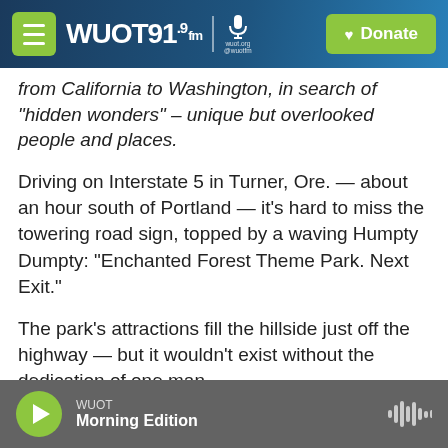WUOT 91.9 FM | Donate
from California to Washington, in search of "hidden wonders" – unique but overlooked people and places.
Driving on Interstate 5 in Turner, Ore. — about an hour south of Portland — it's hard to miss the towering road sign, topped by a waving Humpty Dumpty: "Enchanted Forest Theme Park. Next Exit."
The park's attractions fill the hillside just off the highway — but it wouldn't exist without the dedication of one man.
Roger Tofte grew up wanting to be an illustrator in
WUOT Morning Edition